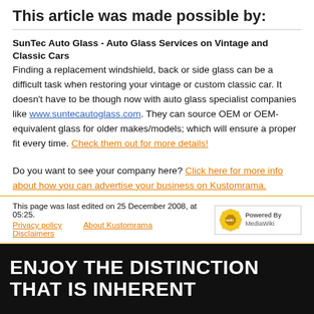This article was made possible by:
SunTec Auto Glass - Auto Glass Services on Vintage and Classic Cars
Finding a replacement windshield, back or side glass can be a difficult task when restoring your vintage or custom classic car. It doesn't have to be though now with auto glass specialist companies like www.suntecautoglass.com. They can source OEM or OEM-equivalent glass for older makes/models; which will ensure a proper fit every time. Check them out for more details!
Do you want to see your company here? Click here for more info about how you can advertise your business on Kustomrama.
This page was last edited on 25 December 2008, at 05:25.
Privacy policy   About Kustomrama   Disclaimers
ENJOY THE DISTINCTION
THAT IS INHERENT